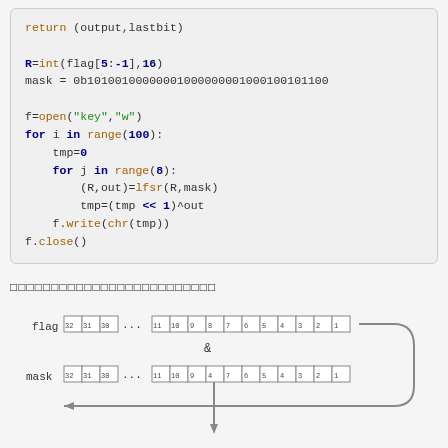[Figure (screenshot): Python code block showing LFSR key generation: R=int(flag[5:-1],16), mask assignment, file open, nested for loops calling lfsr function, bit shifting, and file write/close operations]
□□□□□□□□□□□□□□□□□□□□□□□□□
[Figure (schematic): Diagram showing flag and mask bit registers with bit positions 32,31,30,...,11,10,9,8,7,6,5,4,3,2,1, with AND operation between them and an arrow feedback loop]